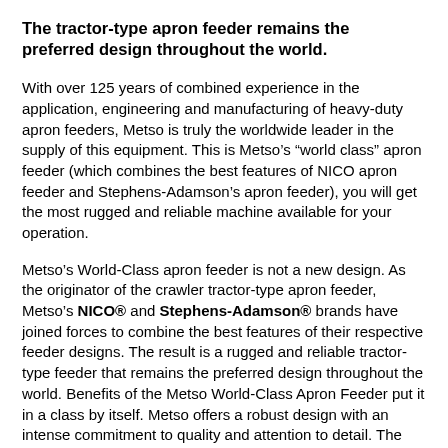The tractor-type apron feeder remains the preferred design throughout the world.
With over 125 years of combined experience in the application, engineering and manufacturing of heavy-duty apron feeders, Metso is truly the worldwide leader in the supply of this equipment. This is Metso’s “world class” apron feeder (which combines the best features of NICO apron feeder and Stephens-Adamson’s apron feeder), you will get the most rugged and reliable machine available for your operation.
Metso’s World-Class apron feeder is not a new design. As the originator of the crawler tractor-type apron feeder, Metso’s NICO® and Stephens-Adamson® brands have joined forces to combine the best features of their respective feeder designs. The result is a rugged and reliable tractor-type feeder that remains the preferred design throughout the world. Benefits of the Metso World-Class Apron Feeder put it in a class by itself. Metso offers a robust design with an intense commitment to quality and attention to detail. The main benefit to the end user is ruggedness and dependability for heavy-duty operations. The bottom line: